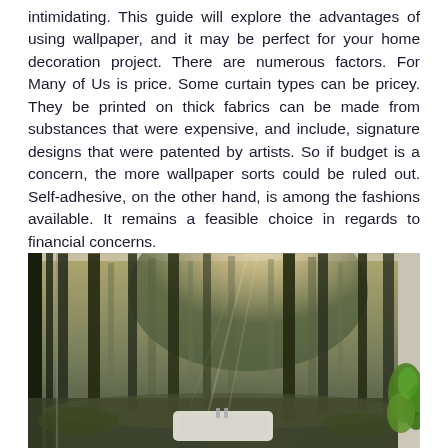intimidating. This guide will explore the advantages of using wallpaper, and it may be perfect for your home decoration project. There are numerous factors. For Many of Us is price. Some curtain types can be pricey. They be printed on thick fabrics can be made from substances that were expensive, and include, signature designs that were patented by artists. So if budget is a concern, the more wallpaper sorts could be ruled out. Self-adhesive, on the other hand, is among the fashions available. It remains a feasible choice in regards to financial concerns.
[Figure (photo): A bathroom interior with a forest wallpaper mural covering the wall behind a freestanding bathtub. Tall trees with misty light filtering through them are depicted. Green plants are visible on the right side near a window.]